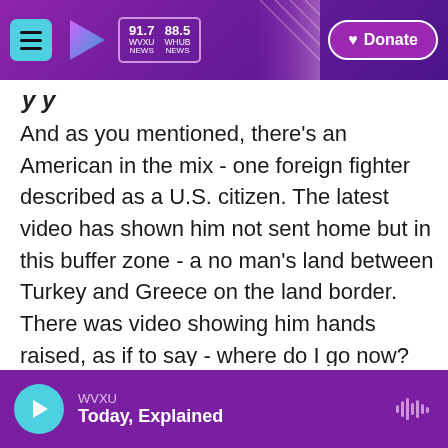91.7 WVXU NEWS | 88.5 WHUB NEWS | Donate
And as you mentioned, there's an American in the mix - one foreign fighter described as a U.S. citizen. The latest video has shown him not sent home but in this buffer zone - a no man's land between Turkey and Greece on the land border. There was video showing him hands raised, as if to say - where do I go now? Greek police say they denied him entry twice. President Erdogan said he's not our problem. He did repeat his threat - President Erdogan did - to open the gates and send large numbers of refugees, including ISIS prisoners, towards Europe again.
WVXU | Today, Explained